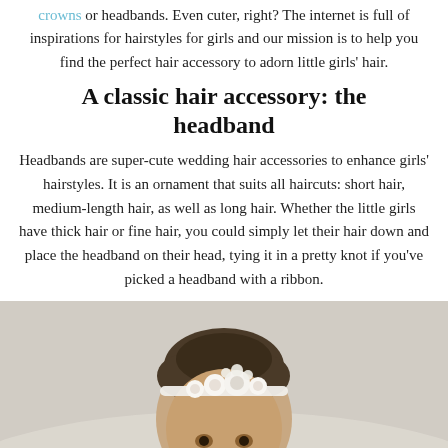crowns or headbands. Even cuter, right? The internet is full of inspirations for hairstyles for girls and our mission is to help you find the perfect hair accessory to adorn little girls' hair.
A classic hair accessory: the headband
Headbands are super-cute wedding hair accessories to enhance girls' hairstyles. It is an ornament that suits all haircuts: short hair, medium-length hair, as well as long hair. Whether the little girls have thick hair or fine hair, you could simply let their hair down and place the headband on their head, tying it in a pretty knot if you've picked a headband with a ribbon.
[Figure (photo): A baby/toddler wearing a white floral headband, photographed from slightly above, showing the top of the head and face partially visible. Soft, light background.]